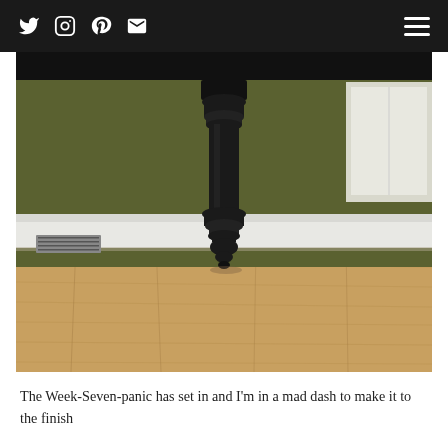Social media icons: Twitter, Instagram, Pinterest, Email, and hamburger menu
[Figure (photo): Close-up photograph of a turned black painted wooden table leg resting on light oak laminate flooring, with olive green painted wall and white baseboard in background]
The Week-Seven-panic has set in and I'm in a mad dash to make it to the finish